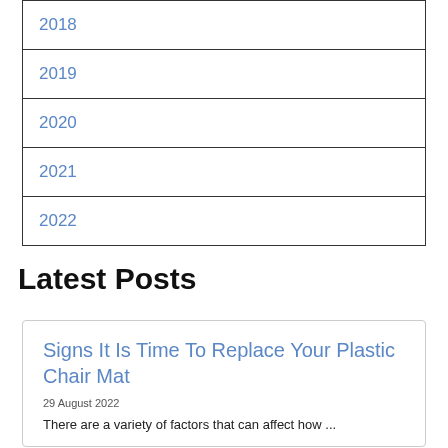| 2018 |
| 2019 |
| 2020 |
| 2021 |
| 2022 |
Latest Posts
Signs It Is Time To Replace Your Plastic Chair Mat
29 August 2022
There are a variety of factors that can affect how ...